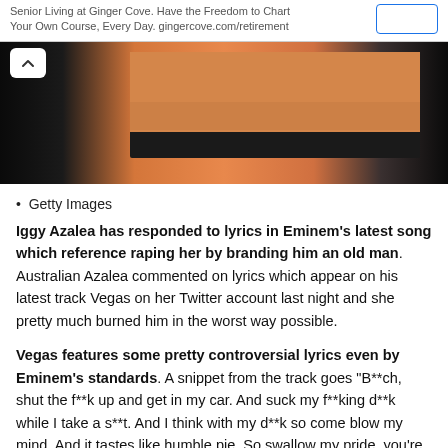Senior Living at Ginger Cove. Have the Freedom to Chart Your Own Course, Every Day. gingercove.com/retirement
[Figure (photo): Cropped photo of a performer's midriff wearing an orange/peach crop top and black waistband, against a dark background]
Getty Images
Iggy Azalea has responded to lyrics in Eminem's latest song which reference raping her by branding him an old man. Australian Azalea commented on lyrics which appear on his latest track Vegas on her Twitter account last night and she pretty much burned him in the worst way possible.
Vegas features some pretty controversial lyrics even by Eminem's standards. A snippet from the track goes "B**ch, shut the f**k up and get in my car. And suck my f**king d**k while I take a s**t. And I think with my d**k so come blow my mind. And it tastes like humble pie. So swallow my pride, you're lucky just to follow my ride."
Eminem continues with that general theme when he refers to Azalea in the lines "If I let you run alongside the Humvee. Unless you're Nicki(Minaj), grab you by the wrist, let's ski. So what's it